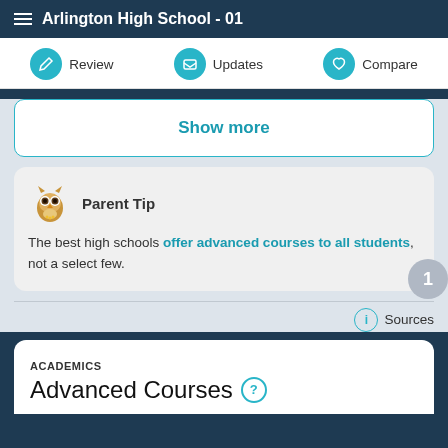Arlington High School - 01
Review | Updates | Compare
Show more
Parent Tip
The best high schools offer advanced courses to all students, not a select few.
Sources
ACADEMICS
Advanced Courses